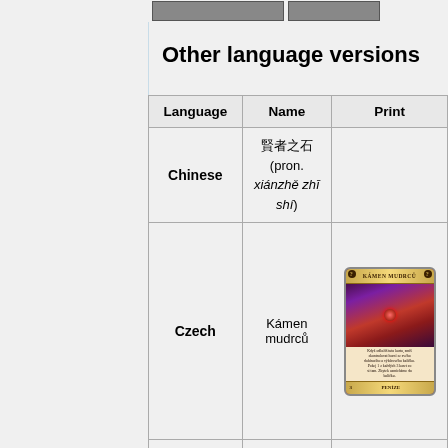[Figure (photo): Two card images at the top of the page]
Other language versions
| Language | Name | Print |
| --- | --- | --- |
| Chinese | 賢者之石 (pron. xiánzhě zhī shí) |  |
| Czech | Kámen mudrců | [card image: KÁMEN MUDRCŮ] |